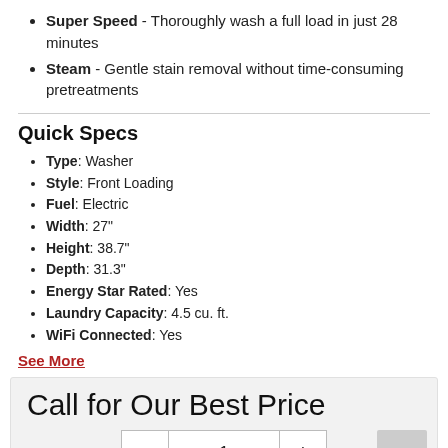Super Speed - Thoroughly wash a full load in just 28 minutes
Steam - Gentle stain removal without time-consuming pretreatments
Quick Specs
Type: Washer
Style: Front Loading
Fuel: Electric
Width: 27"
Height: 38.7"
Depth: 31.3"
Energy Star Rated: Yes
Laundry Capacity: 4.5 cu. ft.
WiFi Connected: Yes
See More
Call for Our Best Price